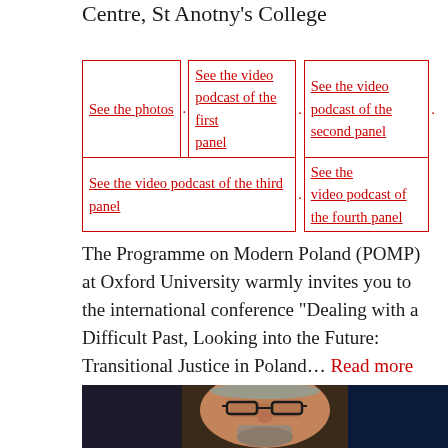Centre, St Anotny's College
| See the photos | . | See the video podcast of the first panel | . | See the video podcast of the second panel | . |
| See the video podcast of the third panel | . | See the video podcast of the fourth panel |
The Programme on Modern Poland (POMP) at Oxford University warmly invites you to the international conference “Dealing with a Difficult Past, Looking into the Future: Transitional Justice in Poland... Read more
[Figure (photo): Close-up photograph of an elderly man with glasses, grey beard, looking forward against a dark background]